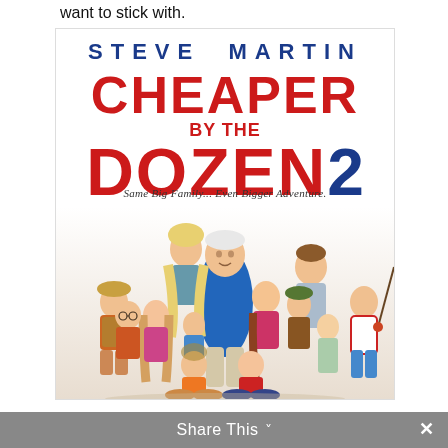want to stick with.
[Figure (photo): Movie poster for 'Cheaper by the Dozen 2' starring Steve Martin. The poster shows Steve Martin in a blue shirt surrounded by a large group of children and a woman, depicting the Baker family. Title text 'STEVE MARTIN' in blue block letters at top, 'CHEAPER BY THE DOZEN 2' in large red and blue letters, with tagline 'Same Big Family... Even Bigger Adventure.']
Share This ∨  ×